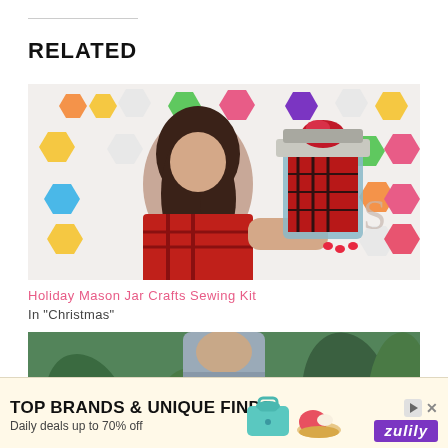RELATED
[Figure (photo): Woman in red plaid shirt holding up a large mason jar filled with red and black plaid fabric, decorated with a red yarn pom-pom on top, standing in front of a wall with colorful hexagon decorations]
Holiday Mason Jar Crafts Sewing Kit
In "Christmas"
[Figure (photo): Person in light blue/grey shirt holding something white, outdoors with green foliage in background]
TOP BRANDS & UNIQUE FINDS
Daily deals up to 70% off